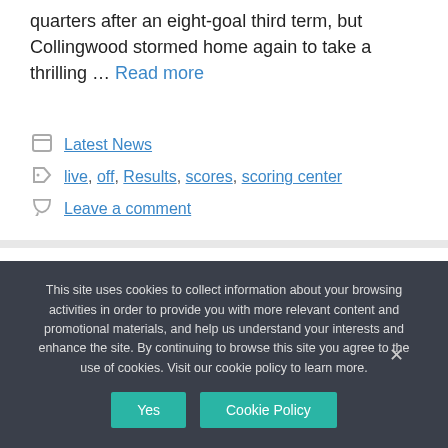quarters after an eight-goal third term, but Collingwood stormed home again to take a thrilling … Read more
Categories: Latest News
Tags: live, off, Results, scores, scoring center
Leave a comment
This site uses cookies to collect information about your browsing activities in order to provide you with more relevant content and promotional materials, and help us understand your interests and enhance the site. By continuing to browse this site you agree to the use of cookies. Visit our cookie policy to learn more.